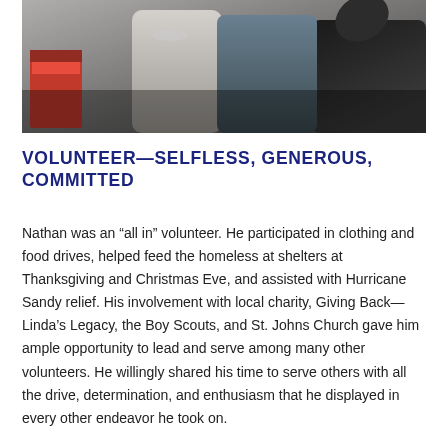[Figure (photo): Photograph of volunteers, showing people in casual clothing working together indoors, partially cropped]
VOLUNTEER—SELFLESS, GENEROUS, COMMITTED
Nathan was an “all in” volunteer. He participated in clothing and food drives, helped feed the homeless at shelters at Thanksgiving and Christmas Eve, and assisted with Hurricane Sandy relief. His involvement with local charity, Giving Back—Linda’s Legacy, the Boy Scouts, and St. Johns Church gave him ample opportunity to lead and serve among many other volunteers. He willingly shared his time to serve others with all the drive, determination, and enthusiasm that he displayed in every other endeavor he took on.